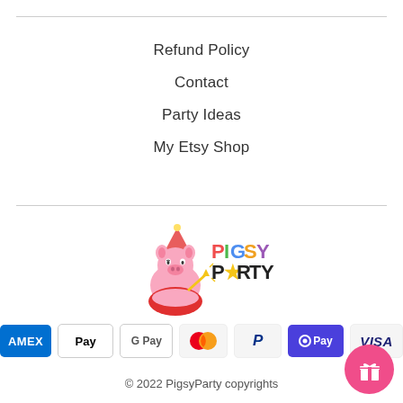Refund Policy
Contact
Party Ideas
My Etsy Shop
[Figure (logo): Pigsy Party logo — pink cartoon pig wearing a party hat with the text PIGSY PARTY in colorful letters]
[Figure (other): Payment method icons: American Express, Apple Pay, Google Pay, Mastercard, PayPal, OPay, Visa]
© 2022 PigsyParty copyrights